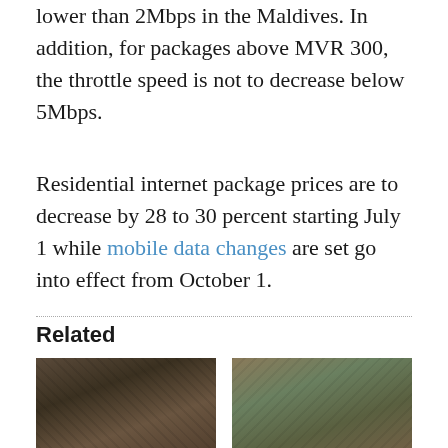lower than 2Mbps in the Maldives. In addition, for packages above MVR 300, the throttle speed is not to decrease below 5Mbps.
Residential internet package prices are to decrease by 28 to 30 percent starting July 1 while mobile data changes are set go into effect from October 1.
Related
[Figure (photo): Two people seated at an event, a woman and a man in a suit, looking forward]
[Figure (photo): Two people standing, one wearing a mask, in a formal setting with green curtains]